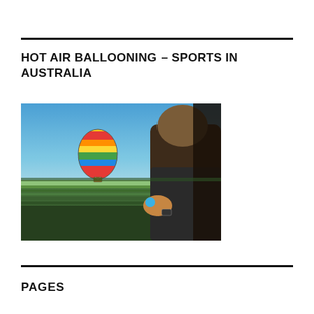HOT AIR BALLOONING – SPORTS IN AUSTRALIA
[Figure (photo): A person in a hot air balloon basket looking out at another colorful striped hot air balloon (red, yellow, green, blue stripes) floating over flat green Australian countryside under a blue sky.]
PAGES